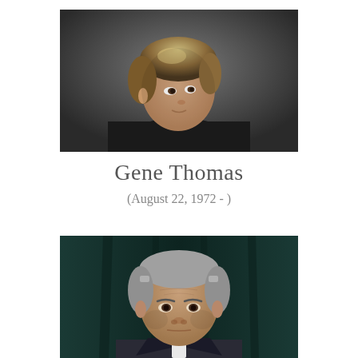[Figure (photo): Professional portrait photo of a young man with light brown/blonde hair wearing a black shirt, photographed against a dark grey background, looking to the side]
Gene Thomas
(August 22, 1972 - )
[Figure (photo): Portrait photo of an older man with grey hair wearing a suit, photographed against a dark teal/green curtain background, looking directly at the camera with a serious expression]